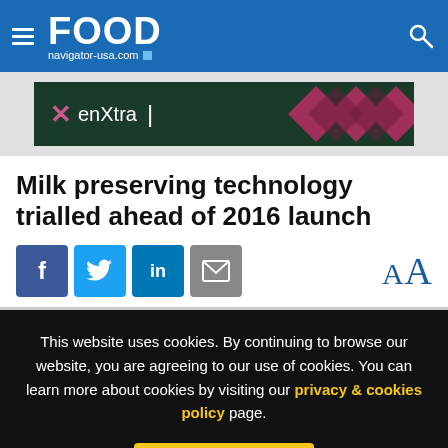FOOD navigator-usa.com
[Figure (logo): enXtra advertisement banner with diamond pattern on dark green background]
Milk preserving technology trialled ahead of 2016 launch
[Figure (infographic): Social sharing buttons: Facebook, Twitter, LinkedIn, Email, and font-size AA control]
This website uses cookies. By continuing to browse our website, you are agreeing to our use of cookies. You can learn more about cookies by visiting our privacy & cookies policy page.